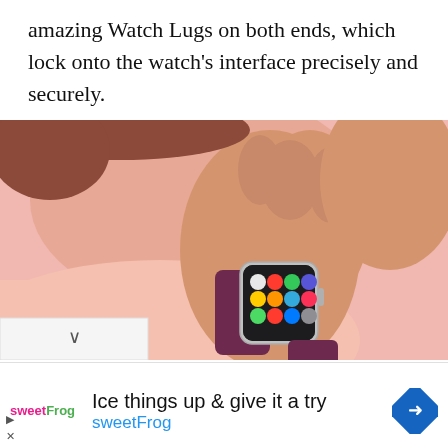amazing Watch Lugs on both ends, which lock onto the watch's interface precisely and securely.
[Figure (photo): A person wearing an Apple Watch with a purple/plum silicone band, hand raised to touch their shoulder. Pink background. The Apple Watch displays a colorful app grid screen.]
[Figure (infographic): Advertisement for sweetFrog: logo showing 'sweetFrog' in pink and green text, headline 'Ice things up & give it a try', subtitle 'sweetFrog' in blue, with a blue diamond navigation arrow icon on the right.]